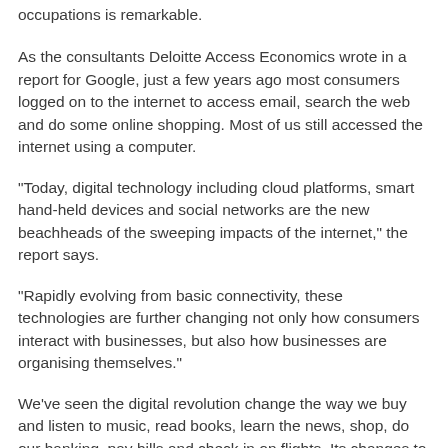occupations is remarkable.
As the consultants Deloitte Access Economics wrote in a report for Google, just a few years ago most consumers logged on to the internet to access email, search the web and do some online shopping. Most of us still accessed the internet using a computer.
"Today, digital technology including cloud platforms, smart hand-held devices and social networks are the new beachheads of the sweeping impacts of the internet," the report says.
"Rapidly evolving from basic connectivity, these technologies are further changing not only how consumers interact with businesses, but also how businesses are organising themselves."
We've seen the digital revolution change the way we buy and listen to music, read books, learn the news, shop, do our banking, pay bills and check in on flights. Its changes to the news media and banking and other financial services have a